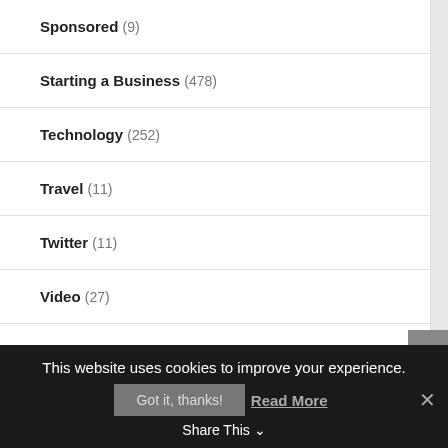Sponsored (9)
Starting a Business (478)
Technology (252)
Travel (11)
Twitter (11)
Video (27)
Virtual Teams (21)
Website Tips (98)
This website uses cookies to improve your experience.
Got it, thanks!  Read More
Share This